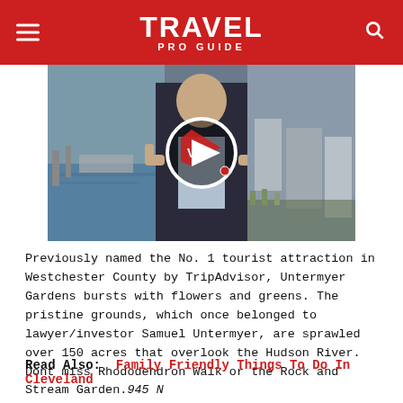TRAVEL PRO GUIDE
[Figure (photo): Video thumbnail showing a man in a suit with thumbs up, with a marina on the left and aerial city view on the right. A circular play button overlay is centered on the image.]
Previously named the No. 1 tourist attraction in Westchester County by TripAdvisor, Untermyer Gardens bursts with flowers and greens. The pristine grounds, which once belonged to lawyer/investor Samuel Untermyer, are sprawled over 150 acres that overlook the Hudson River. Dont miss Rhododendron Walk or the Rock and Stream Garden. 945 N Broadway, www.untermyergardens.org
Read Also: Family Friendly Things To Do In Cleveland